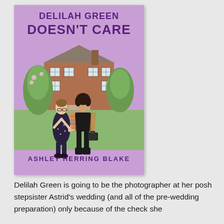[Figure (illustration): Book cover of 'Delilah Green Doesn't Care' by Ashley Herring Blake. Purple/lavender background with two women holding hands in front of a brick house. One woman wears a dark floral dress and glasses, the other wears black clothing and has tattoos and holds a camera. Title text in dark purple at top, author name in bold dark purple at bottom.]
Delilah Green is going to be the photographer at her posh stepsister Astrid's wedding (and all of the pre-wedding preparation) only because of the check she